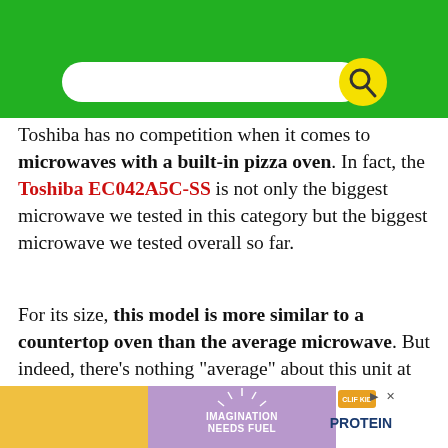[Figure (screenshot): Green banner with search bar and yellow search icon button]
Toshiba has no competition when it comes to microwaves with a built-in pizza oven. In fact, the Toshiba EC042A5C-SS is not only the biggest microwave we tested in this category but the biggest microwave we tested overall so far.
For its size, this model is more similar to a countertop oven than the average microwave. But indeed, there’s nothing “average” about this unit at all.
[Figure (screenshot): Green advertisement banner with close X button]
[Figure (screenshot): Bottom advertisement strip: child with CLIF KID bar, purple background with IMAGINATION NEEDS FUEL text, protein bar image on right]